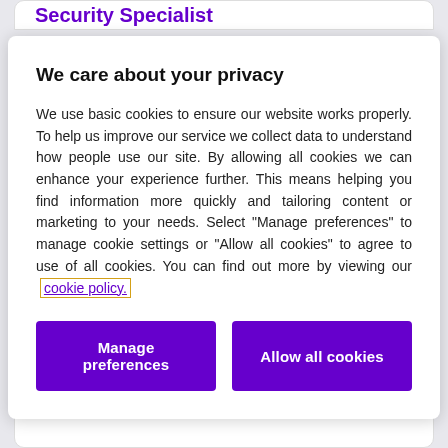Security Specialist
We care about your privacy
We use basic cookies to ensure our website works properly. To help us improve our service we collect data to understand how people use our site. By allowing all cookies we can enhance your experience further. This means helping you find information more quickly and tailoring content or marketing to your needs. Select "Manage preferences" to manage cookie settings or "Allow all cookies" to agree to use of all cookies. You can find out more by viewing our cookie policy.
Manage preferences
Allow all cookies
Perimeter Security Specialist
NatWest Group | Technology Security